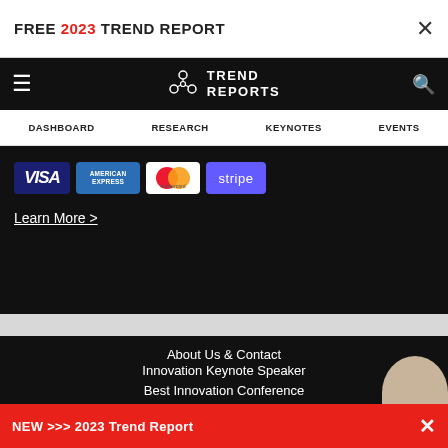FREE 2023 TREND REPORT
[Figure (logo): Trend Reports logo with connected circles icon and navigation bar including hamburger menu and search icon]
DASHBOARD  RESEARCH  KEYNOTES  EVENTS
[Figure (infographic): Payment logos: VISA, American Express, Mastercard, Stripe]
Learn More >
About Us & Contact
Innovation Keynote Speaker
Best Innovation Conference
Custom Trend Reports
Trends © 2022 TREND HUNTER Inc.  Terms of Use, Copyright Info & Privacy Policy
NEW >>> 2023 Trend Report